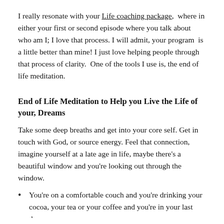I really resonate with your Life coaching package, where in either your first or second episode where you talk about who am I; I love that process. I will admit, your program is a little better than mine! I just love helping people through that process of clarity. One of the tools I use is, the end of life meditation.
End of Life Meditation to Help you Live the Life of your, Dreams
Take some deep breaths and get into your core self. Get in touch with God, or source energy. Feel that connection, imagine yourself at a late age in life, maybe there's a beautiful window and you're looking out through the window.
You're on a comfortable couch and you're drinking your cocoa, your tea or your coffee and you're in your last days